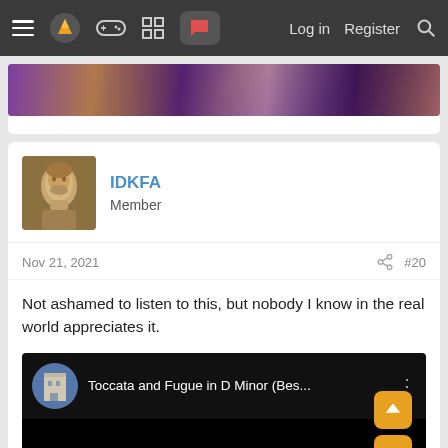≡  [logo]  [gamepad]  [grid]  [chat]   Log in   Register  [search]
[Figure (photo): Partially visible decorative image with purple, gold, and pink iridescent fabric or costume material]
IDKFA
Member
Nov 21, 2021   #20
Not ashamed to listen to this, but nobody I know in the real world appreciates it.
[Figure (screenshot): YouTube video embed showing 'Toccata and Fugue in D Minor (Bes...' with a channel avatar thumbnail of a building, on black background]